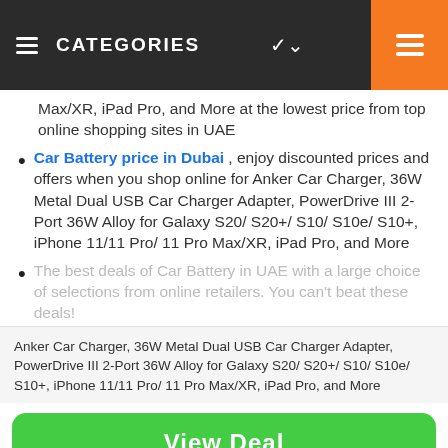CATEGORIES
Max/XR, iPad Pro, and More at the lowest price from top online shopping sites in UAE
Car Battery price in Dubai , enjoy discounted prices and offers when you shop online for Anker Car Charger, 36W Metal Dual USB Car Charger Adapter, PowerDrive III 2-Port 36W Alloy for Galaxy S20/ S20+/ S10/ S10e/ S10+, iPhone 11/11 Pro/ 11 Pro Max/XR, iPad Pro, and More
The best deals of Car Battery in UAE with a large choice of selections from online retailers. You can't beat these deals!
Anker Car Charger, 36W Metal Dual USB Car Charger Adapter, PowerDrive III 2-Port 36W Alloy for Galaxy S20/ S20+/ S10/ S10e/ S10+, iPhone 11/11 Pro/ 11 Pro Max/XR, iPad Pro, and More
View Deal